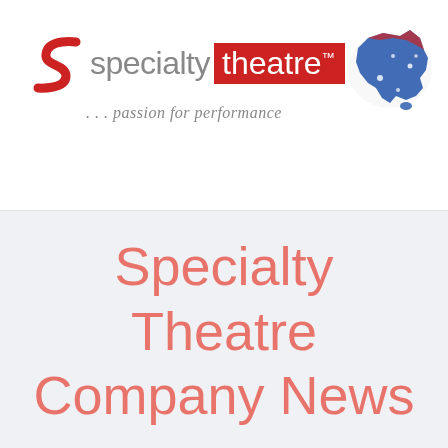[Figure (logo): Specialty Theatre logo with red S-curve icon, 'specialty' in grey text, 'theatre' in white on red background with TM mark, and tagline '...passion for performance' in italic grey below]
[Figure (illustration): Australian flag/map illustration in top right corner]
Specialty Theatre Company News
[Figure (photo): Dark interior theatre photo partially visible at bottom left]